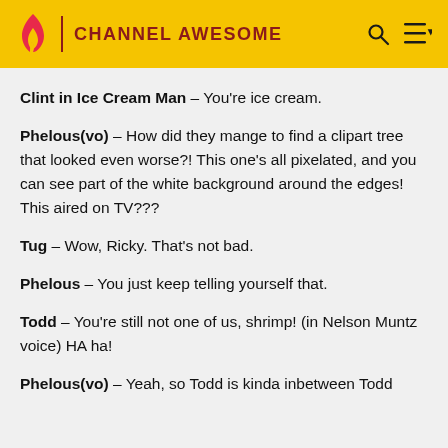CHANNEL AWESOME
Clint in Ice Cream Man - You're ice cream.
Phelous(vo) - How did they mange to find a clipart tree that looked even worse?! This one's all pixelated, and you can see part of the white background around the edges! This aired on TV???
Tug - Wow, Ricky. That's not bad.
Phelous - You just keep telling yourself that.
Todd - You're still not one of us, shrimp! (in Nelson Muntz voice) HA ha!
Phelous(vo) - Yeah, so Todd is kinda inbetween Todd